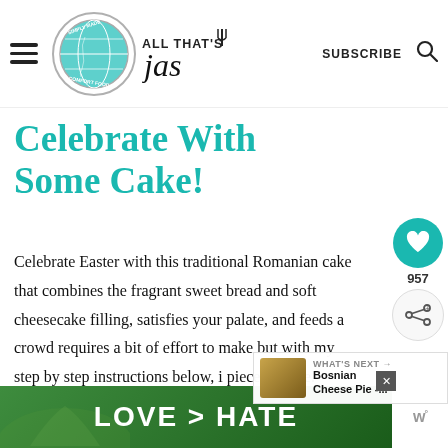ALL THAT'S JAS — SUBSCRIBE
Celebrate With Some Cake!
Celebrate Easter with this traditional Romanian cake that combines the fragrant sweet bread and soft cheesecake filling, satisfies your palate, and feeds a crowd requires a bit of effort to make but with my step by step instructions below, i piece of cake. Literally. 🎂
[Figure (other): Advertisement banner: LOVE > HATE with hands making heart shape]
[Figure (other): What's Next promo: Bosnian Cheese Pie]